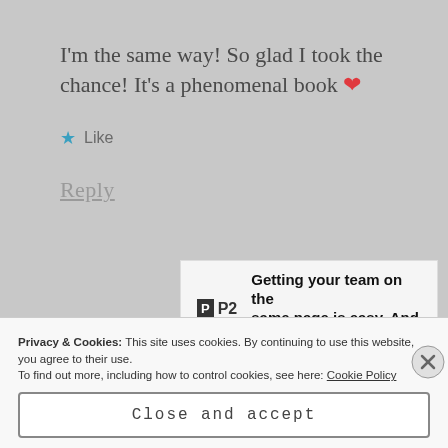I'm the same way! So glad I took the chance! It's a phenomenal book ❤
★ Like
Reply
[Figure (screenshot): P2 advertisement banner: 'Getting your team on the same page is easy. And free.']
Privacy & Cookies: This site uses cookies. By continuing to use this website, you agree to their use. To find out more, including how to control cookies, see here: Cookie Policy
Close and accept